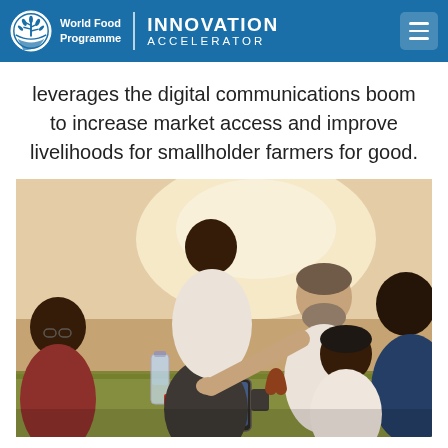World Food Programme | INNOVATION ACCELERATOR
leverages the digital communications boom to increase market access and improve livelihoods for smallholder farmers for good.
[Figure (photo): A group of people gathered around a table, looking at a tablet device. The scene appears to be a training or demonstration session. Several African men and a woman are seated and leaning in, while a light-skinned man with a beard points at the screen. A water bottle is visible on the green table.]